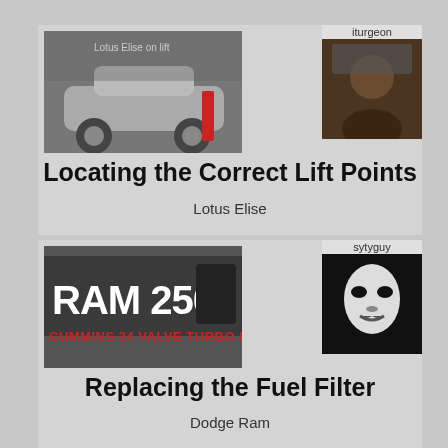[Figure (photo): Card 1: Photo of a Lotus Elise on a lift in a garage, user avatar 'iturgeon' shown top right. Title: Locating the Correct Lift Points, subtitle: Lotus Elise]
Locating the Correct Lift Points
Lotus Elise
[Figure (photo): Card 2: Photo of a RAM 2500 badge reading CUMMINS 24 VALVE TURBO DIESEL, user avatar 'sytyguy' shown top right. Title: Replacing the Fuel Filter, subtitle: Dodge Ram]
Replacing the Fuel Filter
Dodge Ram
[Figure (photo): Card 3 (partial): Photo of car parts/components on a carpet, user avatar 'mwehnes' shown top right. Partial title: Remove the oil coolers and]
Remove the oil coolers and